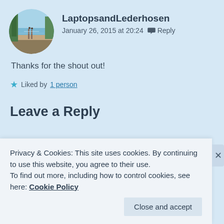[Figure (photo): Circular avatar photo showing a lakeside or beach scene with trees and water in the background]
LaptopsandLederhosen
January 26, 2015 at 20:24  Reply
Thanks for the shout out!
★ Liked by 1 person
Leave a Reply
Privacy & Cookies: This site uses cookies. By continuing to use this website, you agree to their use.
To find out more, including how to control cookies, see here: Cookie Policy
Close and accept